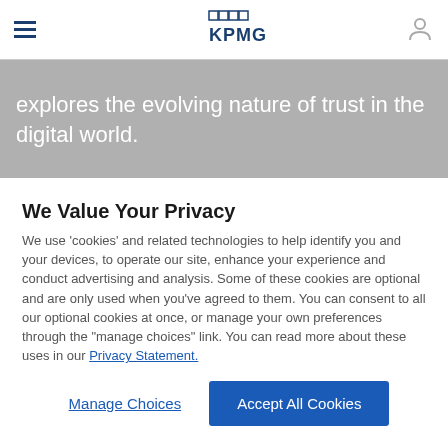KPMG
explores the evolving nature of trust in the digital world.
We Value Your Privacy
We use ‘cookies’ and related technologies to help identify you and your devices, to operate our site, enhance your experience and conduct advertising and analysis. Some of these cookies are optional and are only used when you’ve agreed to them. You can consent to all our optional cookies at once, or manage your own preferences through the “manage choices” link. You can read more about these uses in our Privacy Statement.
Manage Choices
Accept All Cookies